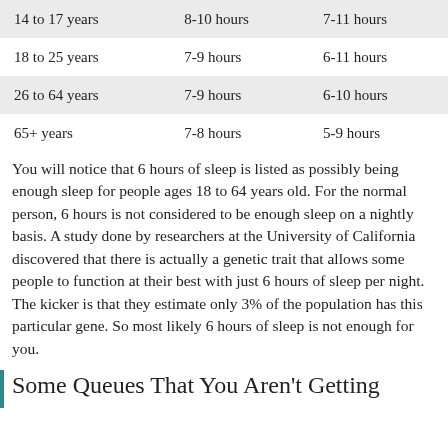| 14 to 17 years | 8-10 hours | 7-11 hours |
| 18 to 25 years | 7-9 hours | 6-11 hours |
| 26 to 64 years | 7-9 hours | 6-10 hours |
| 65+ years | 7-8 hours | 5-9 hours |
You will notice that 6 hours of sleep is listed as possibly being enough sleep for people ages 18 to 64 years old. For the normal person, 6 hours is not considered to be enough sleep on a nightly basis. A study done by researchers at the University of California discovered that there is actually a genetic trait that allows some people to function at their best with just 6 hours of sleep per night. The kicker is that they estimate only 3% of the population has this particular gene. So most likely 6 hours of sleep is not enough for you.
Some Queues That You Aren't Getting